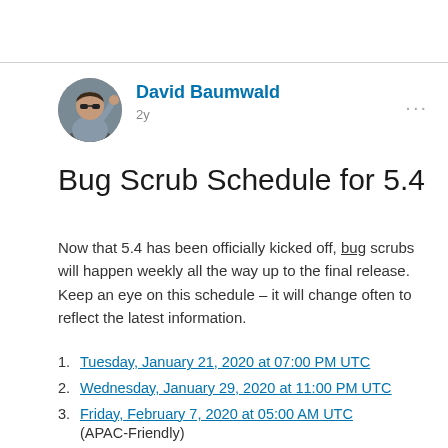[Figure (photo): Circular avatar photo of David Baumwald, a man with sunglasses sitting in a car]
David Baumwald
2y
Bug Scrub Schedule for 5.4
Now that 5.4 has been officially kicked off, bug scrubs will happen weekly all the way up to the final release. Keep an eye on this schedule – it will change often to reflect the latest information.
Tuesday, January 21, 2020 at 07:00 PM UTC
Wednesday, January 29, 2020 at 11:00 PM UTC
Friday, February 7, 2020 at 05:00 AM UTC
(APAC-Friendly)
Monday, February 10, 2020 at 04:00 PM UTC